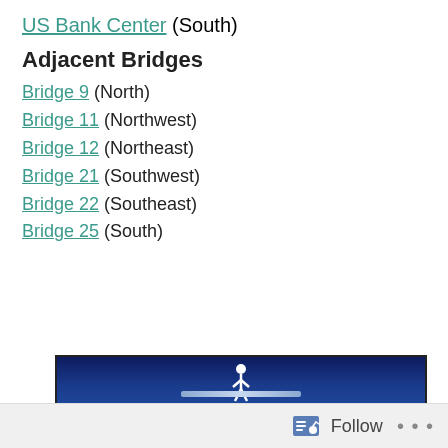US Bank Center (South)
Adjacent Bridges
Bridge 9 (North)
Bridge 11 (Northwest)
Bridge 12 (Northeast)
Bridge 21 (Southwest)
Bridge 22 (Southeast)
Bridge 25 (South)
[Figure (screenshot): Saint Paul Pedestrian Skyway website screenshot showing the SKYWAY banner with city skyline, a Welcome to Saint Paul's Pedestrian Skyway section with descriptive text, a QR code, and the beginning of a Skyway Map Legend at the bottom.]
Follow ...